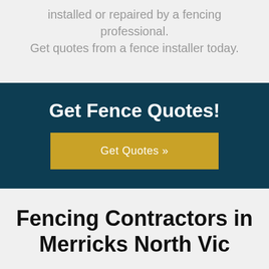installed or repaired by a fencing professional. Get quotes from a fence installer today.
Get Fence Quotes!
Get Quotes »
Fencing Contractors in Merricks North Vic